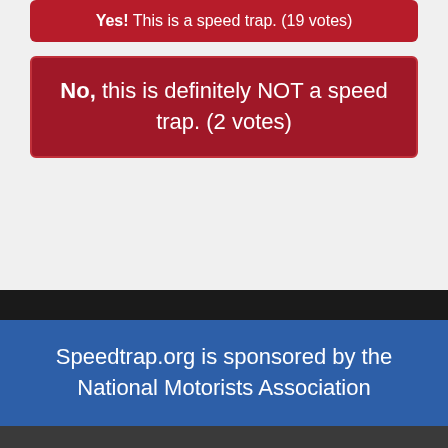Yes! This is a speed trap. (19 votes)
No, this is definitely NOT a speed trap. (2 votes)
Speedtrap.org is sponsored by the National Motorists Association
Get In Touch: